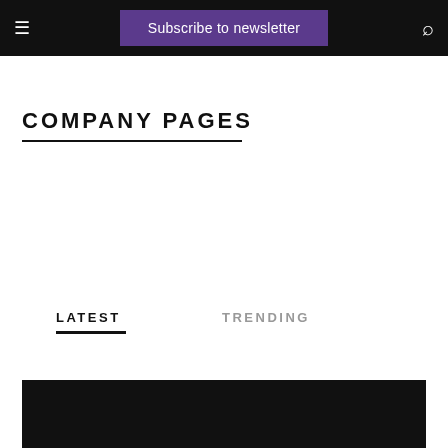Subscribe to newsletter
COMPANY PAGES
LATEST
TRENDING
[Figure (photo): Black image/thumbnail area at bottom of page]